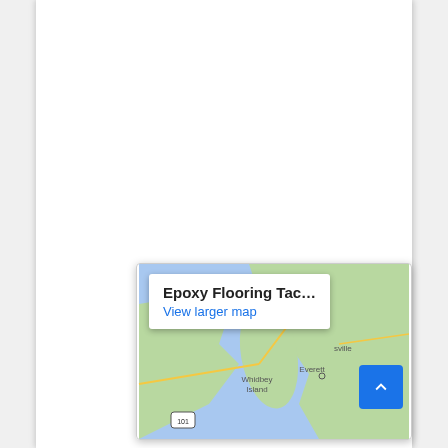[Figure (map): Google Maps embed showing the Tacoma/Everett/Whidbey Island area in Washington state, with a popup overlay reading 'Epoxy Flooring Tac...' and a 'View larger map' link. A blue scroll-to-top button is visible in the lower right corner.]